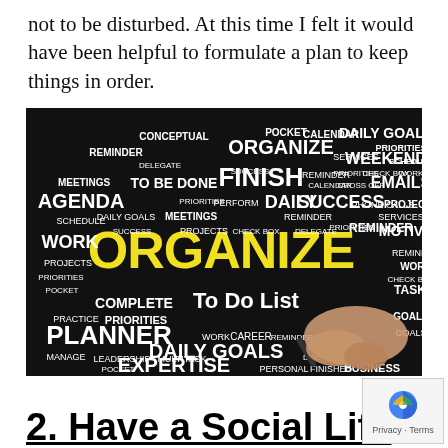not to be disturbed. At this time I felt it would have been helpful to formulate a plan to keep things in order.
[Figure (illustration): Word cloud on a black chalkboard background featuring productivity and organization terms such as ORGANIZE (large yellow text), DAILY GOALS, FINISH, PLANNER, To Do List, AGENDA, WORK, SUCCESS, EXPERTISE, COMPLETE, PRIORITIES, REMINDER, MOTIVATE, SCHEDULE, TASKS, MEETINGS, PROJECTS, CHECK BOX, DELEGATE, PRACTICE, MANAGE, LEADERSHIP, MULTITASK, POCKET, CALENDAR, SERVICES, WEEKEND, EMAILS, PHONE CALLS, CROSS OFF, CAREER, PERSONAL, BUSINESS, with a hand holding a marker pen in the bottom-right portion of the image.]
2. Have a Social Life